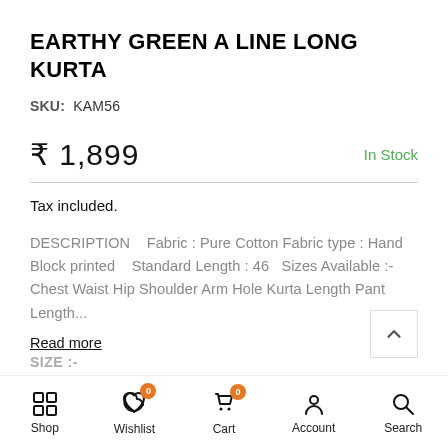EARTHY GREEN A LINE LONG KURTA
SKU: KAM56
₹ 1,899  In Stock
Tax included.
DESCRIPTION   Fabric : Pure Cotton Fabric type : Hand Block printed   Standard Length : 46  Sizes Available :-  Chest Waist Hip Shoulder Arm Hole Kurta Length Pant Length...
Read more
Shop  Wishlist  Cart  Account  Search